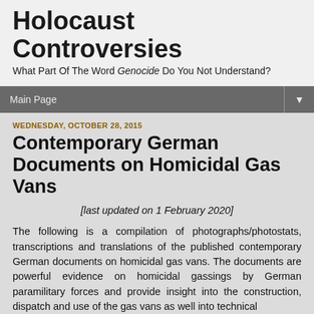Holocaust Controversies
What Part Of The Word Genocide Do You Not Understand?
Main Page ▼
WEDNESDAY, OCTOBER 28, 2015
Contemporary German Documents on Homicidal Gas Vans
[last updated on 1 February 2020]
The following is a compilation of photographs/photostats, transcriptions and translations of the published contemporary German documents on homicidal gas vans. The documents are powerful evidence on homicidal gassings by German paramilitary forces and provide insight into the construction, dispatch and use of the gas vans as well into technical